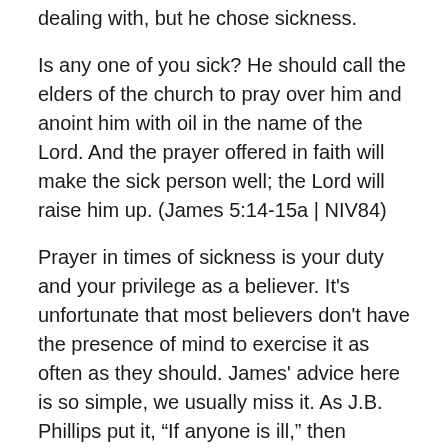dealing with, but he chose sickness.
Is any one of you sick? He should call the elders of the church to pray over him and anoint him with oil in the name of the Lord. And the prayer offered in faith will make the sick person well; the Lord will raise him up. (James 5:14-15a | NIV84)
Prayer in times of sickness is your duty and your privilege as a believer. It's unfortunate that most believers don't have the presence of mind to exercise it as often as they should. James' advice here is so simple, we usually miss it. As J.B. Phillips put it, “If anyone is ill,” then believers need to take certain steps:
Call the elders of the church. Call your pastor or other church leaders. Let them know what's going on. This isn't spiritual advice with practical advice. You want to apply it and